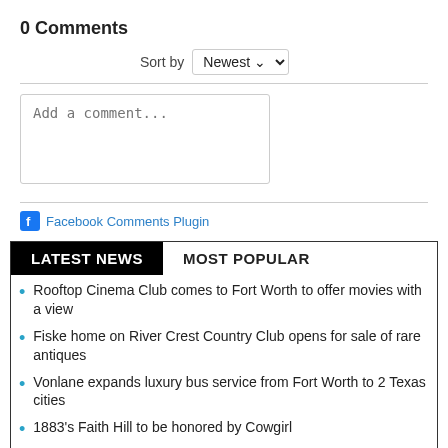0 Comments
Sort by Newest
Add a comment...
Facebook Comments Plugin
LATEST NEWS   MOST POPULAR
Rooftop Cinema Club comes to Fort Worth to offer movies with a view
Fiske home on River Crest Country Club opens for sale of rare antiques
Vonlane expands luxury bus service from Fort Worth to 2 Texas cities
1883's Faith Hill to be honored by Cowgirl